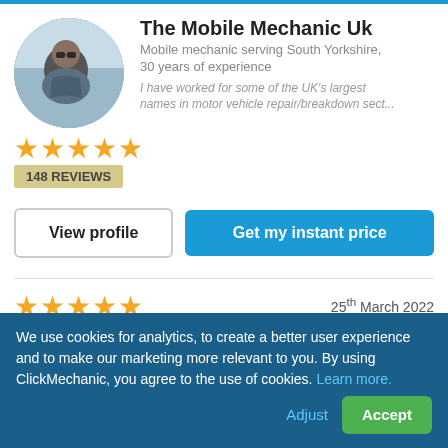[Figure (photo): Circular avatar photo of a man wearing sunglasses, with a blue sky background]
The Mobile Mechanic Uk
Mobile mechanic serving South Yorkshire, 30 years of experience
I have worked for some of the UK's largest names in motor vehicle repair/breakdown sect...
[Figure (other): Five gold star rating icons]
148 REVIEWS
View profile
Get my instant price
[Figure (other): Five gold star rating icons for review]
25th March 2022
“Michael was extremely friendly and knowledgeable. He explained the process of the replacement battery and the
We use cookies for analytics, to create a better user experience and to make our marketing more relevant to you. By using ClickMechanic, you agree to the use of cookies. Learn more.
Adjust
Accept